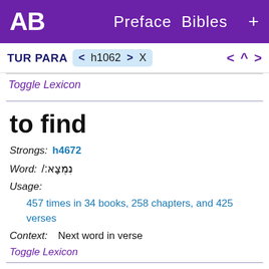AB   Preface  Bibles  +
TUR PARA  < h1062 > X        <  ^  >
Toggle Lexicon
to find
Strongs: h4672
Word: נִמְצָא:/
Usage:
457 times in 34 books, 258 chapters, and 425 verses
Context: Next word in verse
Toggle Lexicon